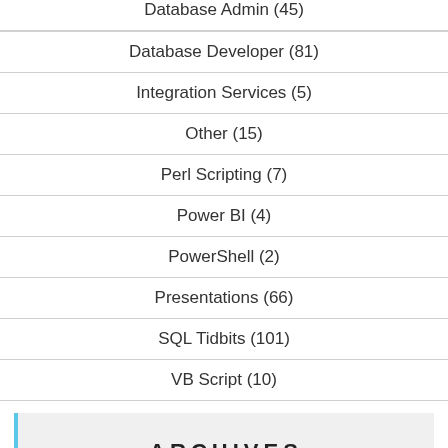Database Admin (45)
Database Developer (81)
Integration Services (5)
Other (15)
Perl Scripting (7)
Power BI (4)
PowerShell (2)
Presentations (66)
SQL Tidbits (101)
VB Script (10)
ARCHIVES
Select Month